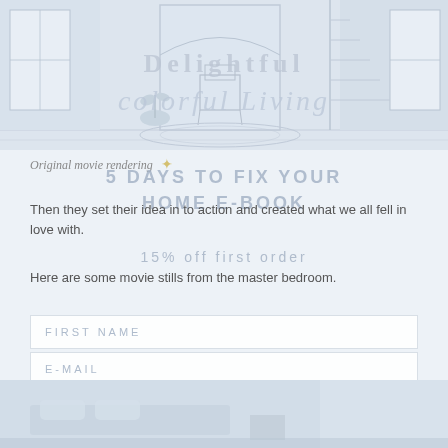[Figure (illustration): Pencil sketch/rendering of an interior room with a chair, stairs, windows, and a plant. Overlaid with decorative text reading 'Delightful' and 'colorful Living' in light serif fonts.]
Original movie rendering
5 DAYS TO FIX YOUR HOME E-BOOK
Then they set their idea in to action and created what we all fell in love with.
15% off first order
Here are some movie stills from the master bedroom.
FIRST NAME
E-MAIL
[Figure (photo): Partial bottom strip showing a photo of a bedroom interior with soft natural light.]